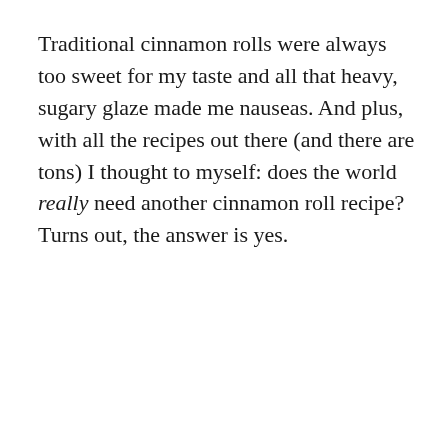Traditional cinnamon rolls were always too sweet for my taste and all that heavy, sugary glaze made me nauseas. And plus, with all the recipes out there (and there are tons) I thought to myself: does the world really need another cinnamon roll recipe? Turns out, the answer is yes.